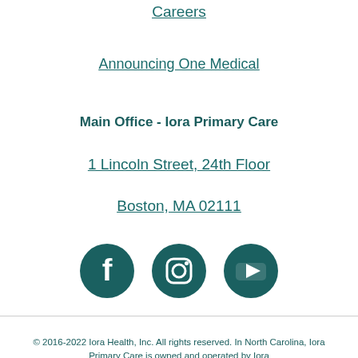Careers
Announcing One Medical
Main Office - Iora Primary Care
1 Lincoln Street, 24th Floor
Boston, MA 02111
[Figure (illustration): Social media icons: Facebook, Instagram, YouTube — dark teal circular icons]
© 2016-2022 Iora Health, Inc. All rights reserved. In North Carolina, Iora Primary Care is owned and operated by Iora